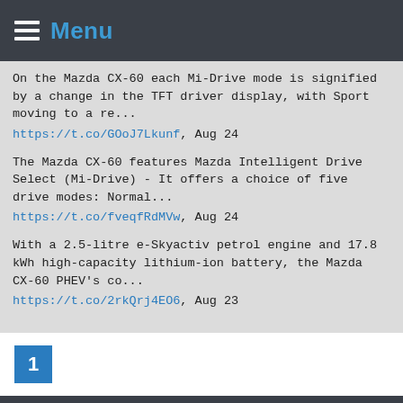Menu
On the Mazda CX-60 each Mi-Drive mode is signified by a change in the TFT driver display, with Sport moving to a re... https://t.co/GOoJ7Lkunf, Aug 24
The Mazda CX-60 features Mazda Intelligent Drive Select (Mi-Drive) - It offers a choice of five drive modes: Normal... https://t.co/fveqfRdMVw, Aug 24
With a 2.5-litre e-Skyactiv petrol engine and 17.8 kWh high-capacity lithium-ion battery, the Mazda CX-60 PHEV's co... https://t.co/2rkQrj4EO6, Aug 23
1
This website uses cookies to improve your experience. We'll assume you're ok with this, but you can opt-out if you wish.
Accept
Read More